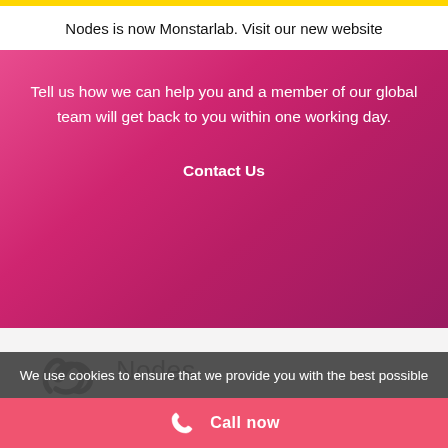Nodes is now Monstarlab. Visit our new website
Tell us how we can help you and a member of our global team will get back to you within one working day.
Contact Us
[Figure (logo): Nodes logo — stylized N mark in black with the word Nodes in dark text]
BERLIN
We use cookies to ensure that we provide you with the best possible
Call now